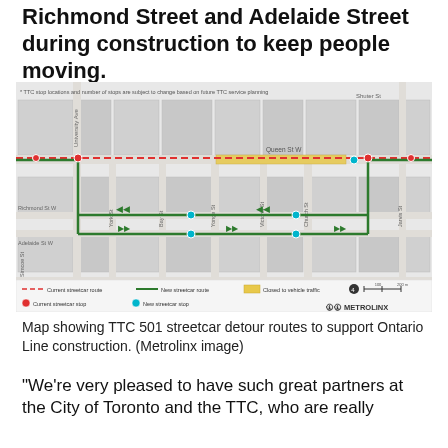Richmond Street and Adelaide Street during construction to keep people moving.
[Figure (map): Map showing TTC 501 streetcar detour routes around Queen St W construction zone. Shows current streetcar route (red dashed line), new streetcar route (green solid line), section closed to vehicle traffic (yellow/orange highlighted bar on Queen St W), current streetcar stops (red dots), new streetcar stops (cyan dots). Streets labeled include University Ave, Shuter St, Queen St W, Richmond St W, Adelaide St W, York St, Bay St, Yonge St, Victoria St, Church St, Jarvis St, Simcoe St, King St W. Legend and Metrolinx logo at bottom. Footnote: TTC stop locations and number of stops are subject to change based on future TTC service planning.]
Map showing TTC 501 streetcar detour routes to support Ontario Line construction. (Metrolinx image)
“We’re very pleased to have such great partners at the City of Toronto and the TTC, who are really